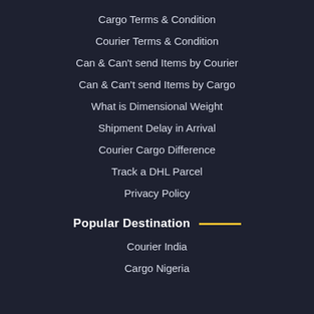Cargo Terms & Condition
Courier Terms & Condition
Can & Can't send Items by Courier
Can & Can't send Items by Cargo
What is Dimensional Weight
Shipment Delay in Arrival
Courier Cargo Difference
Track a DHL Parcel
Privacy Policy
Popular Destination
Courier India
Cargo Nigeria